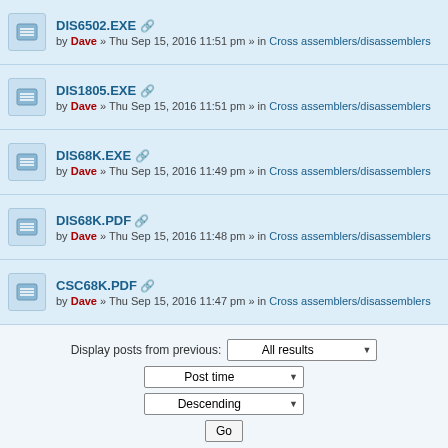DIS6502.EXE [attachment] by Dave » Thu Sep 15, 2016 11:51 pm » in Cross assemblers/disassemblers
DIS1805.EXE [attachment] by Dave » Thu Sep 15, 2016 11:51 pm » in Cross assemblers/disassemblers
DIS68K.EXE [attachment] by Dave » Thu Sep 15, 2016 11:49 pm » in Cross assemblers/disassemblers
DIS68K.PDF [attachment] by Dave » Thu Sep 15, 2016 11:48 pm » in Cross assemblers/disassemblers
CSC68K.PDF [attachment] by Dave » Thu Sep 15, 2016 11:47 pm » in Cross assemblers/disassemblers
Display posts from previous: All results
Post time
Descending
Go
Search found 50 matches  1  2  >
Jump to
Home · Board index  The team
Powered by phpBB® Forum Software © phpBB Limited